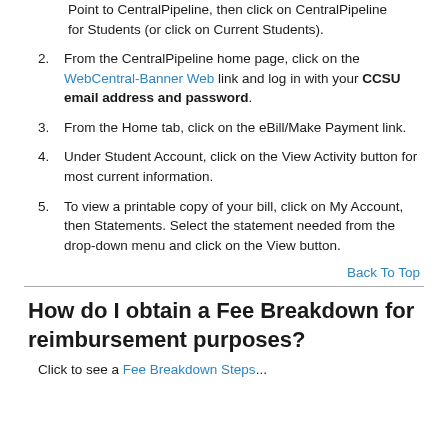Point to CentralPipeline, then click on CentralPipeline for Students (or click on Current Students).
From the CentralPipeline home page, click on the WebCentral-Banner Web link and log in with your CCSU email address and password.
From the Home tab, click on the eBill/Make Payment link.
Under Student Account, click on the View Activity button for most current information.
To view a printable copy of your bill, click on My Account, then Statements. Select the statement needed from the drop-down menu and click on the View button.
Back To Top
How do I obtain a Fee Breakdown for reimbursement purposes?
Click to see a Fee Breakdown Steps...